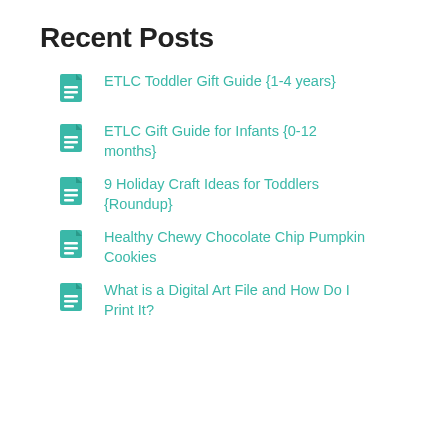Recent Posts
ETLC Toddler Gift Guide {1-4 years}
ETLC Gift Guide for Infants {0-12 months}
9 Holiday Craft Ideas for Toddlers {Roundup}
Healthy Chewy Chocolate Chip Pumpkin Cookies
What is a Digital Art File and How Do I Print It?